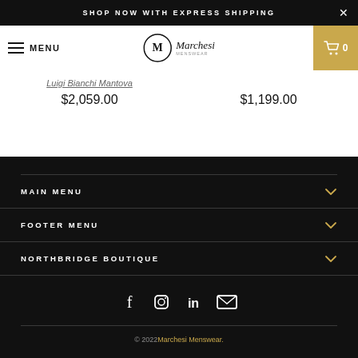SHOP NOW WITH EXPRESS SHIPPING
MENU
Marchesi
Luigi Bianchi Mantova
$2,059.00
$1,199.00
MAIN MENU
FOOTER MENU
NORTHBRIDGE BOUTIQUE
[Figure (other): Social media icons: Facebook, Instagram, LinkedIn, Email]
© 2022 Marchesi Menswear.